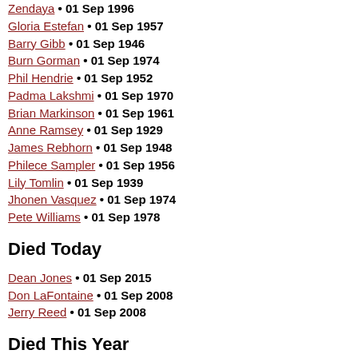Zendaya • 01 Sep 1996
Gloria Estefan • 01 Sep 1957
Barry Gibb • 01 Sep 1946
Burn Gorman • 01 Sep 1974
Phil Hendrie • 01 Sep 1952
Padma Lakshmi • 01 Sep 1970
Brian Markinson • 01 Sep 1961
Anne Ramsey • 01 Sep 1929
James Rebhorn • 01 Sep 1948
Philece Sampler • 01 Sep 1956
Lily Tomlin • 01 Sep 1939
Jhonen Vasquez • 01 Sep 1974
Pete Williams • 01 Sep 1978
Died Today
Dean Jones • 01 Sep 2015
Don LaFontaine • 01 Sep 2008
Jerry Reed • 01 Sep 2008
Died This Year
06 Jan 2022 • Sidney Poitier
09 Jan 2022 • Dwayne Hickman